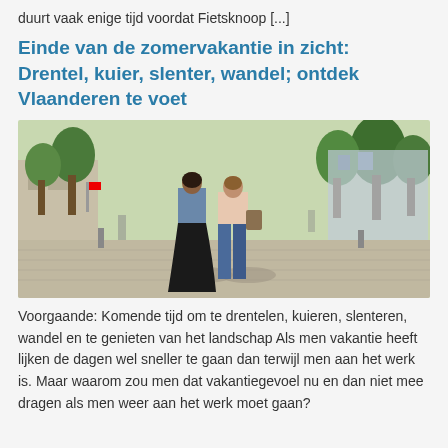duurt vaak enige tijd voordat Fietsknoop [...]
Einde van de zomervakantie in zicht: Drentel, kuier, slenter, wandel; ontdek Vlaanderen te voet
[Figure (photo): Two women walking away from the camera down a sunny tree-lined pedestrian street in a Flemish city, viewed from behind. One wears a dark skirt and denim jacket, the other jeans and a light top carrying a bag. Trees, buildings, and paving stones visible.]
Voorgaande: Komende tijd om te drentelen, kuieren, slenteren, wandel en te genieten van het landschap Als men vakantie heeft lijken de dagen wel sneller te gaan dan terwijl men aan het werk is. Maar waarom zou men dat vakantiegevoel nu en dan niet mee dragen als men weer aan het werk moet gaan?